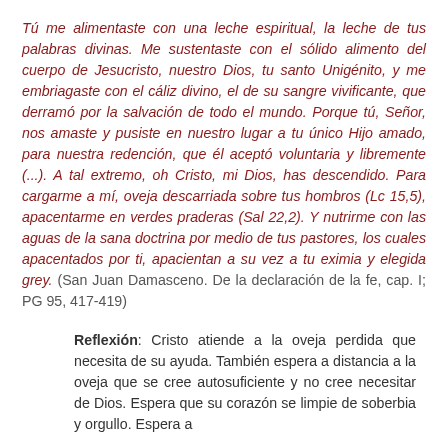Tú me alimentaste con una leche espiritual, la leche de tus palabras divinas. Me sustentaste con el sólido alimento del cuerpo de Jesucristo, nuestro Dios, tu santo Unigénito, y me embriagaste con el cáliz divino, el de su sangre vivificante, que derramó por la salvación de todo el mundo. Porque tú, Señor, nos amaste y pusiste en nuestro lugar a tu único Hijo amado, para nuestra redención, que él aceptó voluntaria y libremente (...). A tal extremo, oh Cristo, mi Dios, has descendido. Para cargarme a mí, oveja descarriada sobre tus hombros (Lc 15,5), apacentarme en verdes praderas (Sal 22,2). Y nutrirme con las aguas de la sana doctrina por medio de tus pastores, los cuales apacentados por ti, apacientan a su vez a tu eximia y elegida grey. (San Juan Damasceno. De la declaración de la fe, cap. I; PG 95, 417-419)
Reflexión: Cristo atiende a la oveja perdida que necesita de su ayuda. También espera a distancia a la oveja que se cree autosuficiente y no cree necesitar de Dios. Espera que su corazón se limpie de soberbia y orgullo. Espera a